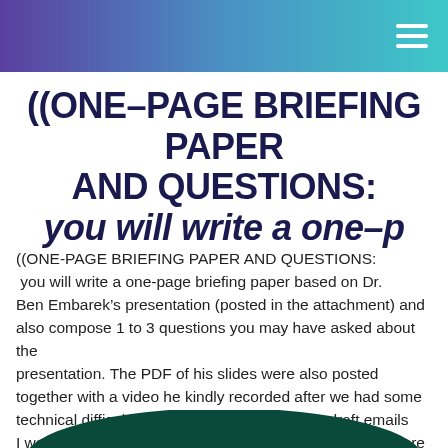((ONE-PAGE BRIEFING PAPER AND QUESTIONS: you will write a one-p
((ONE-PAGE BRIEFING PAPER AND QUESTIONS: you will write a one-page briefing paper based on Dr. Ben Embarek’s presentation (posted in the attachment) and also compose 1 to 3 questions you may have asked about the presentation. The PDF of his slides were also posted together with a video he kindly recorded after we had some technical difficulties (see a summary of some draft emails I was unable to send below as the technical difficulties were ever changing). In addition, I have posted under the same folder Dr. Ben Embarek’s bio))